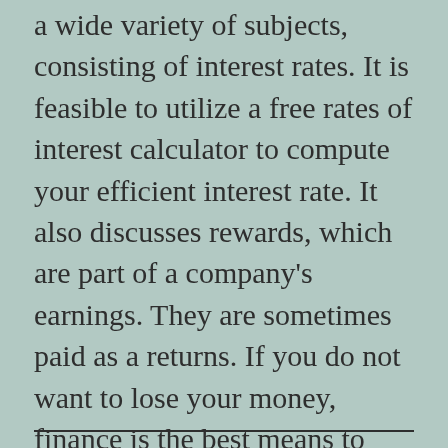a wide variety of subjects, consisting of interest rates. It is feasible to utilize a free rates of interest calculator to compute your efficient interest rate. It also discusses rewards, which are part of a company's earnings. They are sometimes paid as a returns. If you do not want to lose your money, finance is the best means to maximize it. You'll be able to take advantage of your financial investment by investing wisely.